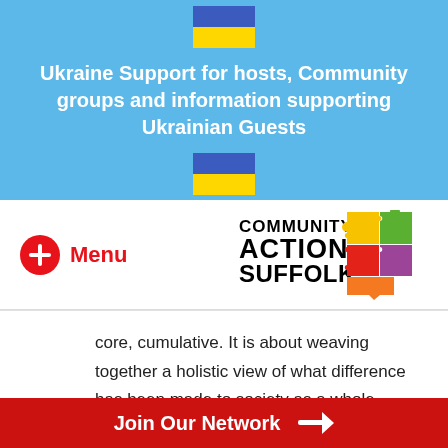[Figure (illustration): Ukrainian flag emoji SVG at top of banner]
Ukraine Support for hosts, Community groups and information supporting Ukrainian Guests
[Figure (illustration): Ukrainian flag emoji SVG below title]
[Figure (logo): Community Action Suffolk logo with colorful puzzle pieces in speech bubble shape]
Menu
core, cumulative. It is about weaving together a holistic view of what difference has been made to society as a whole. Social value is about a systemic, network
Join Our Network →